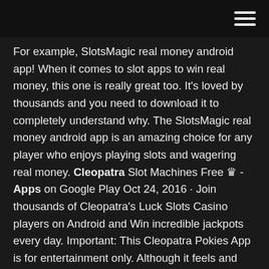For example, SlotsMagic real money android app! When it comes to slot apps to win real money, this one is really great too. It's loved by thousands and you need to download it to completely understand why. The SlotsMagic real money android app is an amazing choice for any player who enjoys playing slots and wagering real money. Cleopatra Slot Machines Free 👑 - Apps on Google Play Oct 24, 2016 · Join thousands of Cleopatra's Luck Slots Casino players on Android and Win incredible jackpots every day. Important: This Cleopatra Pokies App is for entertainment only. Although it feels and looks like a real Vegas slot there is no real money involved. Feel like you are playing in Casino slots but be responsible when playing. Classic Cleopatra Slots Free 2018 for Android Free Classic Cleopatra Slots